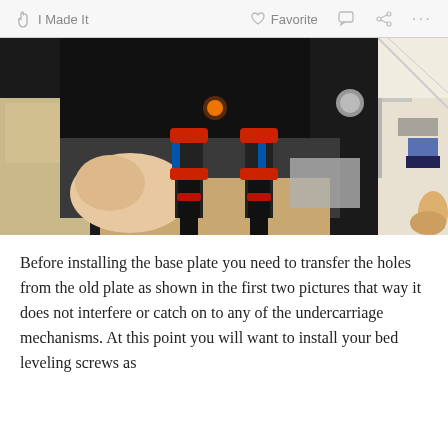I Made It   Favorite   ...
[Figure (photo): A hand holding two red-and-black clamps attached underneath a black metal base plate of a machine, with electronic components visible on workbench in background. A second partial photo visible to the right showing a similar close-up of a component being held.]
Before installing the base plate you need to transfer the holes from the old plate as shown in the first two pictures that way it does not interfere or catch on to any of the undercarriage mechanisms. At this point you will want to install your bed leveling screws as